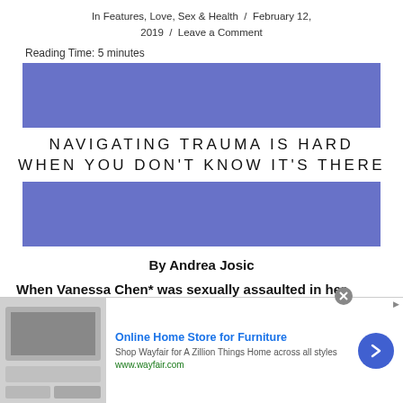In Features, Love, Sex & Health / February 12, 2019 / Leave a Comment
Reading Time: 5 minutes
[Figure (illustration): Blue/periwinkle colored rectangular banner image placeholder]
NAVIGATING TRAUMA IS HARD WHEN YOU DON'T KNOW IT'S THERE
[Figure (illustration): Blue/periwinkle colored rectangular banner image placeholder]
By Andrea Josic
When Vanessa Chen* was sexually assaulted in her university dorm room during frosh in 2015, she was
[Figure (screenshot): Wayfair advertisement: Online Home Store for Furniture. Shop Wayfair for A Zillion Things Home across all styles. www.wayfair.com]